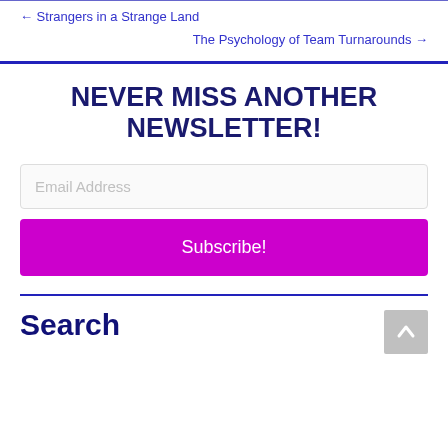← Strangers in a Strange Land
The Psychology of Team Turnarounds →
NEVER MISS ANOTHER NEWSLETTER!
Email Address
Subscribe!
Search